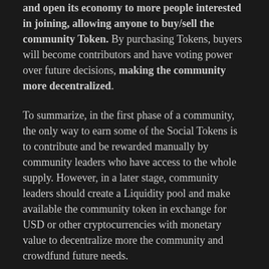and open its economy to more people interested in joining, allowing anyone to buy/sell the community Token. By purchasing Tokens, buyers will become contributors and have voting power over future decisions, making the community more decentralized.
To summarize, in the first phase of a community, the only way to earn some of the Social Tokens is to contribute and be rewarded manually by community leaders who have access to the whole supply. However, in a later stage, community leaders should create a Liquidity pool and make available the community token in exchange for USD or other cryptocurrencies with monetary value to decentralize more the community and crowdfund future needs.
As we just saw, most communities need Liquidity at some point. But how do you find this Liquidity? How do